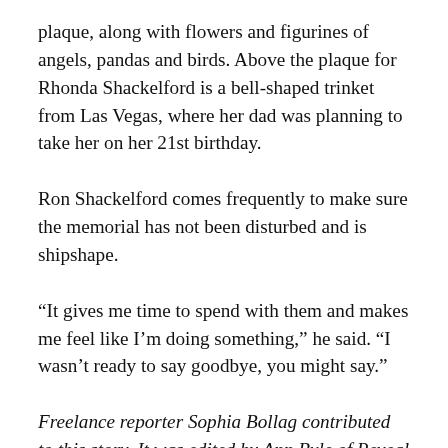plaque, along with flowers and figurines of angels, pandas and birds. Above the plaque for Rhonda Shackelford is a bell-shaped trinket from Las Vegas, where her dad was planning to take her on her 21st birthday.
Ron Shackelford comes frequently to make sure the memorial has not been disturbed and is shipshape.
“It gives me time to spend with them and makes me feel like I’m doing something,” he said. “I wasn’t ready to say goodbye, you might say.”
Freelance reporter Sophia Bollag contributed to this story. It was edited by Ann Byle of Reveal and com…